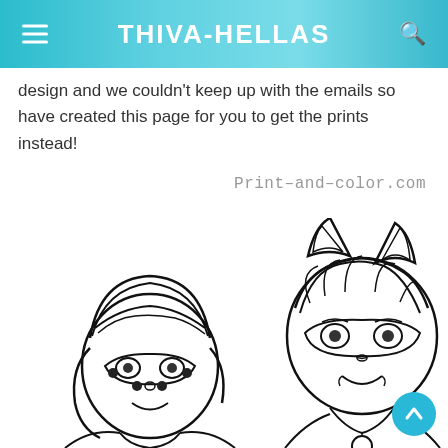THIVA-HELLAS
design and we couldn't keep up with the emails so have created this page for you to get the prints instead!
Print-and-color.com
[Figure (illustration): Coloring page illustration of two animated characters from Miraculous Ladybug: Ladybug (left) with polka dot mask and Chat Noir (right) with cat ears and mask, both drawn in black outline style ready for coloring.]